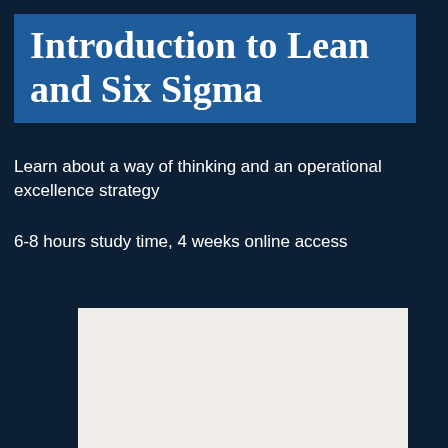Introduction to Lean and Six Sigma
Learn about a way of thinking and an operational excellence strategy
6-8 hours study time, 4 weeks online access
[Figure (other): Light beige/cream colored rectangular image placeholder at the bottom of the page]